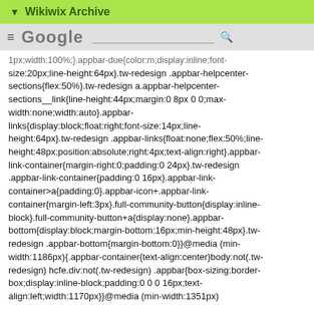▼ Wikiwix Archive
[Figure (screenshot): Google search bar screenshot with menu icon and search field]
1px;width:100%;}.appbar-due{color:m;display:inline;font-size:20px;line-height:64px}.tw-redesign .appbar-helpcenter-sections{flex:50%}.tw-redesign a.appbar-helpcenter-sections__link{line-height:44px;margin:0 8px 0 0;max-width:none;width:auto}.appbar-links{display:block;float:right;font-size:14px;line-height:64px}.tw-redesign .appbar-links{float:none;flex:50%;line-height:48px;position:absolute;right:4px;text-align:right}.appbar-link-container{margin-right:0;padding:0 24px}.tw-redesign .appbar-link-container{padding:0 16px}.appbar-link-container>a{padding:0}.appbar-icon+.appbar-link-container{margin-left:3px}.full-community-button{display:inline-block}.full-community-button+a{display:none}.appbar-bottom{display:block;margin-bottom:16px;min-height:48px}.tw-redesign .appbar-bottom{margin-bottom:0}}@media (min-width:1186px){.appbar-container{text-align:center}body:not(.tw-redesign) hcfe.div:not(.tw-redesign) .appbar{box-sizing:border-box;display:inline-block;padding:0 0 0 16px;text-align:left;width:1170px}}@media (min-width:1351px) {body:not(.tw-redesign) hcfe.div:not(.tw-redesign) .appbar{padding-left:80px;width:100%}}.cc{word-wrap:break-word}.cc h1{margin:24px 0 8px}.cc h2>a,.cc h3>a,.cc